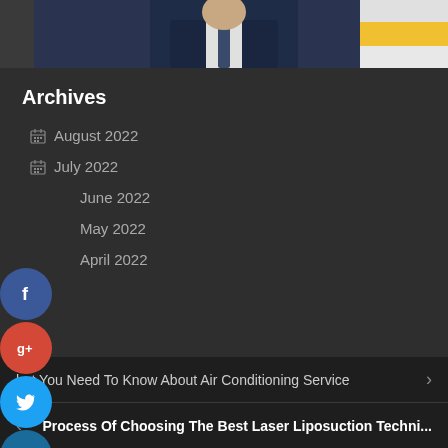[Figure (photo): Photo of a man in a dark suit and tie, cropped at the top of the page against a light background with a partial flag visible]
Archives
August 2022
July 2022
June 2022
May 2022
April 2022
What You Need To Know About Air Conditioning Service
Process Of Choosing The Best Laser Liposuction Techni...